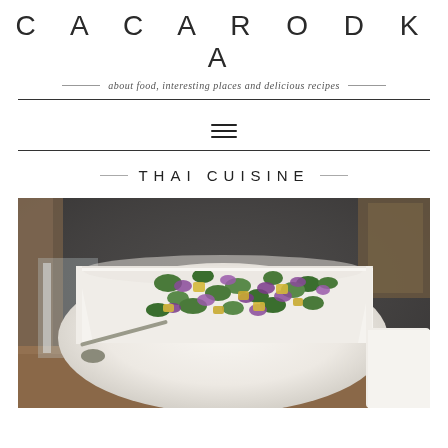CACARODKA
about food, interesting places and delicious recipes
THAI CUISINE
[Figure (photo): A white square bowl filled with a colorful Thai salad featuring chopped green vegetables, purple red onion, and yellow pineapple pieces, served on a wooden table with a glass and small bowl visible on the sides]